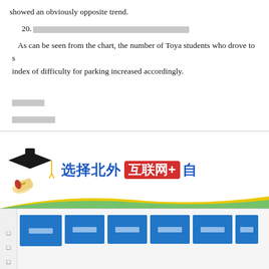showed an obviously opposite trend.
20. [Chinese text redacted as boxes]
As can be seen from the chart, the number of Toya students who drove to s... index of difficulty for parking increased accordingly.
[Chinese text - redacted boxes]
[Chinese text - redacted boxes]
[Figure (illustration): Advertisement banner with graduation cap image, Chinese text '选择北外', red box with '互联网+', and partially visible '自'. Yellow and blue wave decoration at bottom.]
[Figure (screenshot): Navigation bar with blue buttons containing Chinese text labels for menu items.]